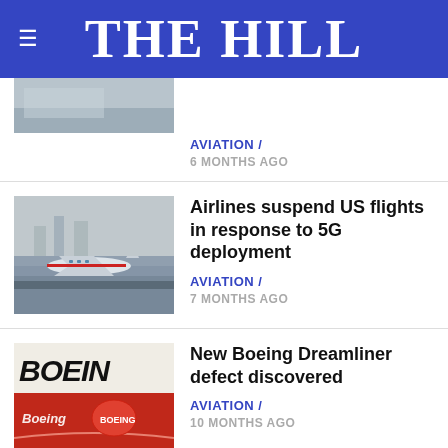THE HILL
[Figure (photo): Partial airplane photo (top of article, cropped)]
AVIATION / 6 MONTHS AGO
[Figure (photo): Airplane on runway approaching landing]
Airlines suspend US flights in response to 5G deployment
AVIATION / 7 MONTHS AGO
[Figure (photo): Boeing logo and red Boeing branded item]
New Boeing Dreamliner defect discovered
AVIATION / 10 MONTHS AGO
[Figure (photo): Partial photo of next article (cropped at bottom)]
FAA...